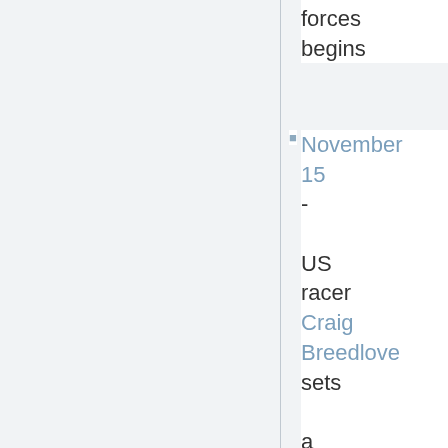forces begins
November 15 - US racer Craig Breedlove sets a new land speed record